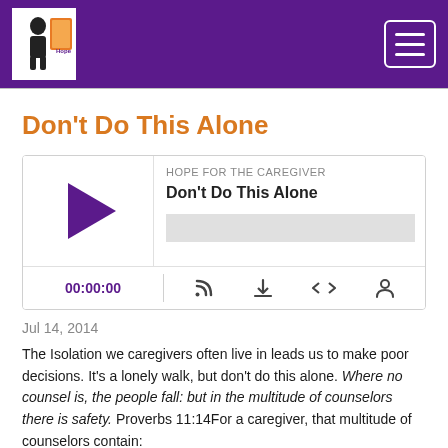Hope for the Caregiver — site header with logo and hamburger menu
Don't Do This Alone
[Figure (other): Podcast audio player widget showing episode 'Don't Do This Alone' from Hope for the Caregiver, with play button, progress bar, time counter 00:00:00, and control icons (RSS, download, embed, share)]
Jul 14, 2014
The Isolation we caregivers often live in leads us to make poor decisions.  It's a lonely walk, but don't do this alone.   Where no counsel is, the people fall: but in the multitude of counselors there is safety. Proverbs 11:14For a caregiver, that multitude of counselors contain:
Pastors
Physicians
Accountant